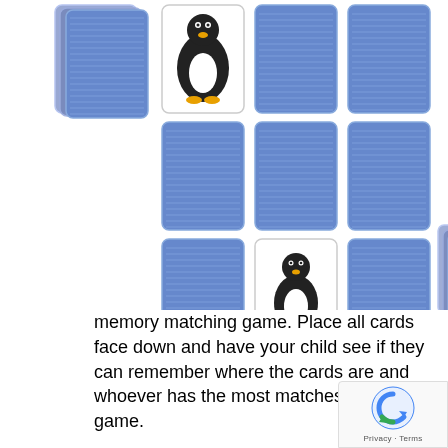[Figure (photo): Memory matching card game showing blue-backed playing cards laid face down and two cards face up with a Linux Tux penguin logo visible, arranged in a grid pattern on white background]
memory matching game. Place all cards face down and have your child see if they can remember where the cards are and whoever has the most matches wins the game.
3. Book Reading: Choose a book from your local library that targets the speech sound, read with your child (or maybe they can read to you!)
4. Board Games: Incorporate your child's favorite board game and